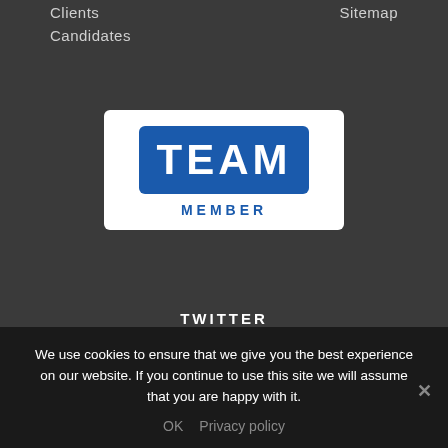Clients   Sitemap
Candidates
[Figure (logo): TEAM MEMBER logo — blue rounded rectangle with white 'TEAM' text, below it 'MEMBER' in blue on white background]
TWITTER
Finding the right candidate for a new role can have a hugely positive impact on your business - from boosting team morale to improving the performance and efficiency of your operations. Here are six most common recruitment mistakes - and how to avoid
We use cookies to ensure that we give you the best experience on our website. If you continue to use this site we will assume that you are happy with it.
OK   Privacy policy